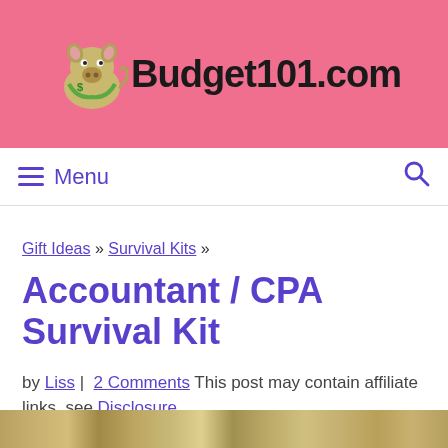[Figure (logo): Budget101.com website logo with cartoon pig mascot on pink background]
≡ Menu  🔍
Gift Ideas » Survival Kits »
Accountant / CPA Survival Kit
by Liss | 2 Comments This post may contain affiliate links, see Disclosure.
Updated: September 24, 2020
[Figure (photo): Partial image of money/cash bills at the bottom of the page]